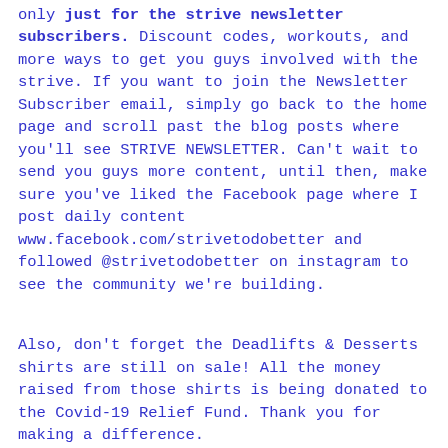only just for the strive newsletter subscribers. Discount codes, workouts, and more ways to get you guys involved with the strive. If you want to join the Newsletter Subscriber email, simply go back to the home page and scroll past the blog posts where you'll see STRIVE NEWSLETTER. Can't wait to send you guys more content, until then, make sure you've liked the Facebook page where I post daily content www.facebook.com/strivetodobetter and followed @strivetodobetter on instagram to see the community we're building.
Also, don't forget the Deadlifts & Desserts shirts are still on sale! All the money raised from those shirts is being donated to the Covid-19 Relief Fund. Thank you for making a difference. https://strivetodobetterapparel.com/collections/deadlifts-desserts-covid-19/products/deadlifts-desserts-covid-19-tee